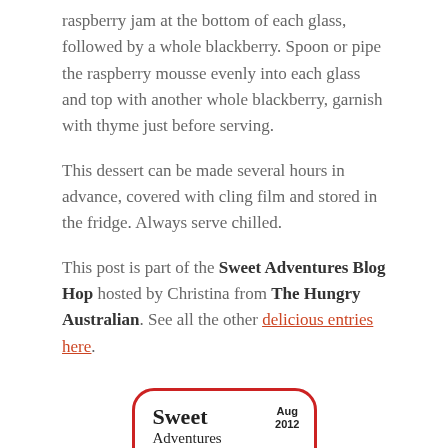raspberry jam at the bottom of each glass, followed by a whole blackberry. Spoon or pipe the raspberry mousse evenly into each glass and top with another whole blackberry, garnish with thyme just before serving.
This dessert can be made several hours in advance, covered with cling film and stored in the fridge. Always serve chilled.
This post is part of the Sweet Adventures Blog Hop hosted by Christina from The Hungry Australian. See all the other delicious entries here.
[Figure (logo): Sweet Adventures Blog Hop badge with red rounded border, text reading 'Sweet Adventures Blog Hop Berry nice' and 'Aug 2012' in top right corner, with a red circle in bottom right.]